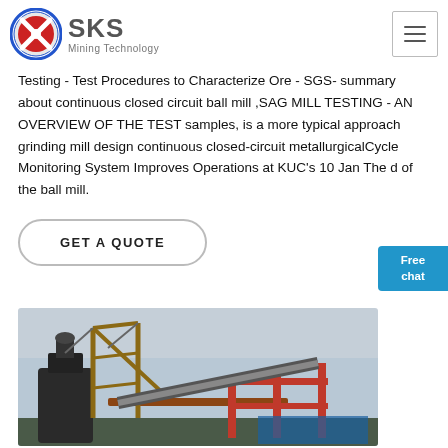SKS Mining Technology
Testing - Test Procedures to Characterize Ore - SGS- summary about continuous closed circuit ball mill ,SAG MILL TESTING - AN OVERVIEW OF THE TEST samples, is a more typical approach grinding mill design continuous closed-circuit metallurgicalCycle Monitoring System Improves Operations at KUC’s 10 Jan The d of the ball mill.
GET A QUOTE
[Figure (photo): Construction site with industrial mining equipment, metal scaffolding, conveyor structures, and machinery against a grey sky.]